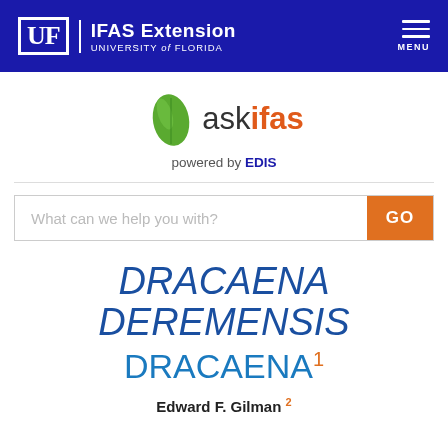UF | IFAS Extension UNIVERSITY of FLORIDA MENU
[Figure (logo): askifas powered by EDIS logo with green leaf icon]
What can we help you with? GO
DRACAENA DEREMENSIS
DRACAENA 1
Edward F. Gilman 2